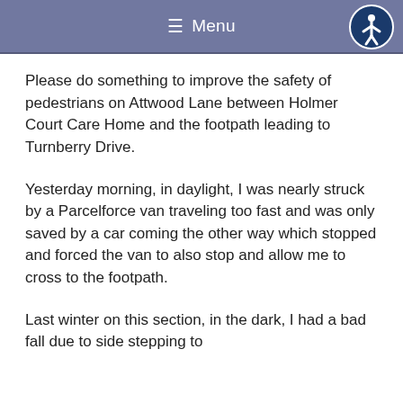Menu
Please do something to improve the safety of pedestrians on Attwood Lane between Holmer Court Care Home and the footpath leading to Turnberry Drive.
Yesterday morning, in daylight, I was nearly struck by a Parcelforce van traveling too fast and was only saved by a car coming the other way which stopped and forced the van to also stop and allow me to cross to the footpath.
Last winter on this section, in the dark, I had a bad fall due to side stepping to